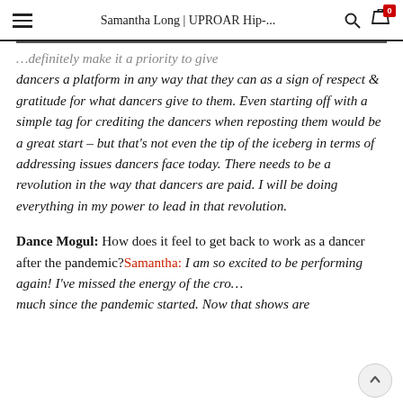Samantha Long | UPROAR Hip-...
…definitely make it a priority to give dancers a platform in any way that they can as a sign of respect & gratitude for what dancers give to them. Even starting off with a simple tag for crediting the dancers when reposting them would be a great start – but that's not even the tip of the iceberg in terms of addressing issues dancers face today. There needs to be a revolution in the way that dancers are paid. I will be doing everything in my power to lead in that revolution.
Dance Mogul: How does it feel to get back to work as a dancer after the pandemic?Samantha: I am so excited to be performing again! I've missed the energy of the cro… much since the pandemic started. Now that shows are